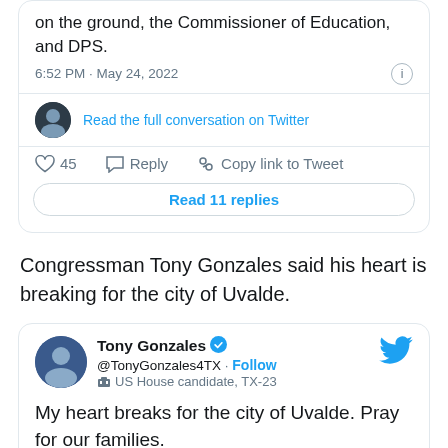[Figure (screenshot): Bottom portion of a tweet card showing timestamp '6:52 PM · May 24, 2022', info icon, a 'Read the full conversation on Twitter' link with small avatar, action row with 45 likes, Reply, Copy link to Tweet, and a 'Read 11 replies' button.]
Congressman Tony Gonzales said his heart is breaking for the city of Uvalde.
[Figure (screenshot): Tweet card from Tony Gonzales (@TonyGonzales4TX), verified, US House candidate TX-23, with Twitter bird icon. Tweet text: 'My heart breaks for the city of Uvalde. Pray for our families.']